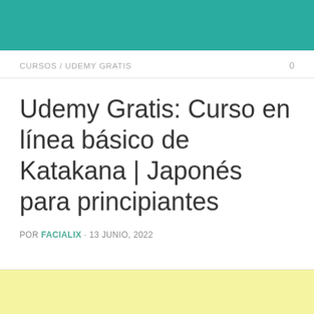CURSOS / UDEMY GRATIS
Udemy Gratis: Curso en línea básico de Katakana | Japonés para principiantes
POR FACIALIX · 13 JUNIO, 2022